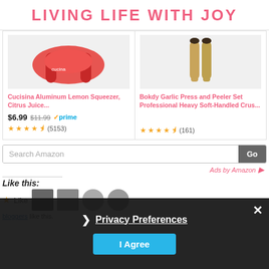LIVING LIFE WITH JOY
[Figure (photo): Red Cucisina aluminum lemon squeezer product image]
[Figure (photo): Gold/black Bokdy garlic press and peeler set product image]
Cucisina Aluminum Lemon Squeezer, Citrus Juice...
Bokdy Garlic Press and Peeler Set Professional Heavy Soft-Handled Crus...
$6.99 $11.99 ✓prime  ★★★★½ (5153)
★★★★½ (161)
Search Amazon
Ads by Amazon
Like this:
Privacy Preferences
I Agree
bloggers like this.